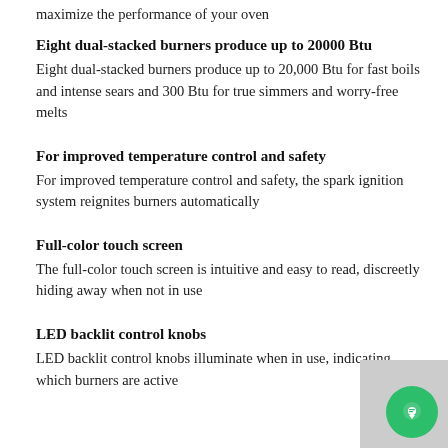maximize the performance of your oven
Eight dual-stacked burners produce up to 20000 Btu
Eight dual-stacked burners produce up to 20,000 Btu for fast boils and intense sears and 300 Btu for true simmers and worry-free melts
For improved temperature control and safety
For improved temperature control and safety, the spark ignition system reignites burners automatically
Full-color touch screen
The full-color touch screen is intuitive and easy to read, discreetly hiding away when not in use
LED backlit control knobs
LED backlit control knobs illuminate when in use, indicating which burners are active